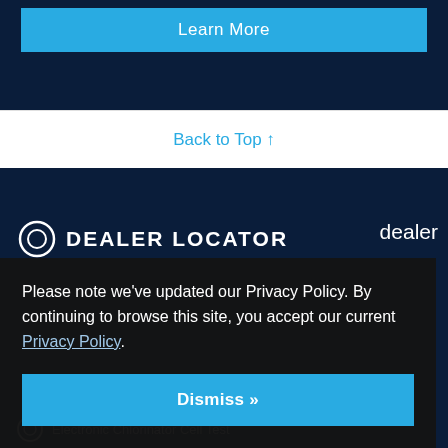Learn More
Back to Top ↑
[Figure (screenshot): DEALER LOCATOR section header with circular logo icon on dark navy background, partially visible]
dealer
Please note we've updated our Privacy Policy. By continuing to browse this site, you accept our current Privacy Policy.
Dismiss »
Electronic Chlorinator Cell Test